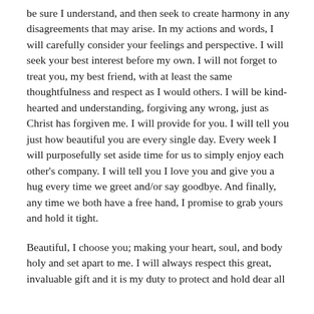be sure I understand, and then seek to create harmony in any disagreements that may arise. In my actions and words, I will carefully consider your feelings and perspective. I will seek your best interest before my own. I will not forget to treat you, my best friend, with at least the same thoughtfulness and respect as I would others. I will be kind-hearted and understanding, forgiving any wrong, just as Christ has forgiven me. I will provide for you. I will tell you just how beautiful you are every single day. Every week I will purposefully set aside time for us to simply enjoy each other's company. I will tell you I love you and give you a hug every time we greet and/or say goodbye. And finally, any time we both have a free hand, I promise to grab yours and hold it tight.
Beautiful, I choose you; making your heart, soul, and body holy and set apart to me. I will always respect this great, invaluable gift and it is my duty to protect and hold dear all